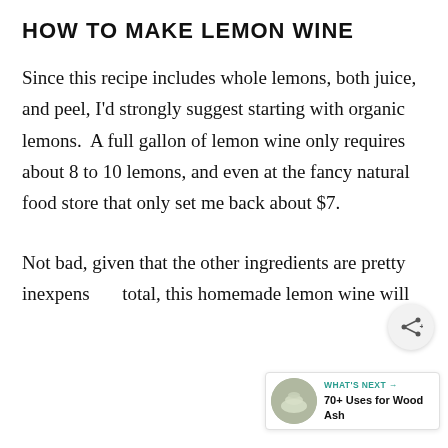HOW TO MAKE LEMON WINE
Since this recipe includes whole lemons, both juice, and peel, I'd strongly suggest starting with organic lemons.  A full gallon of lemon wine only requires about 8 to 10 lemons, and even at the fancy natural food store that only set me back about $7.
Not bad, given that the other ingredients are pretty inexpens… total, this homemade lemon wine will